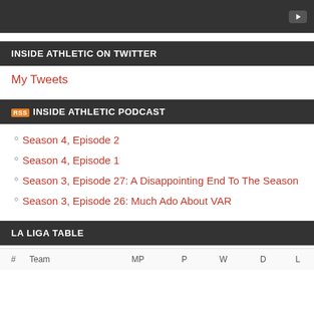[Figure (screenshot): Dark video player bar with YouTube play button icon in top right]
INSIDE ATHLETIC ON TWITTER
My Tweets
INSIDE ATHLETIC PODCAST
Season 4, Episode 2
Season 4, Episode 1
Season 3, Episode 27: A Disappointing End To The Season
Season 3, Episode 26: Much Ado About VAR
LA LIGA TABLE
| # | Team | MP | P | W | D | L |
| --- | --- | --- | --- | --- | --- | --- |